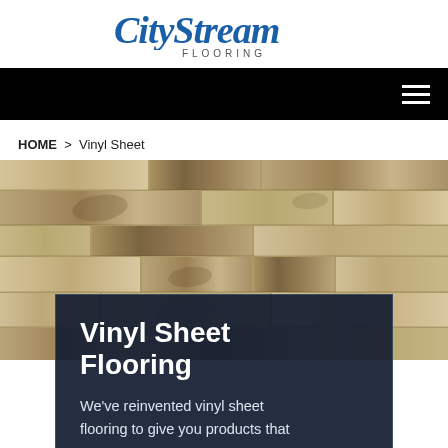[Figure (logo): CityStream Flooring logo with cursive blue script text and 'FLOORING' subtitle in grey spaced capitals]
[Figure (other): Black navigation bar with hamburger menu icon (three horizontal lines) on the right]
HOME > Vinyl Sheet
[Figure (photo): Close-up photo of vinyl sheet flooring showing wood-look planks in various shades of beige, tan, and grey-brown]
Vinyl Sheet Flooring
We've reinvented vinyl sheet flooring to give you products that